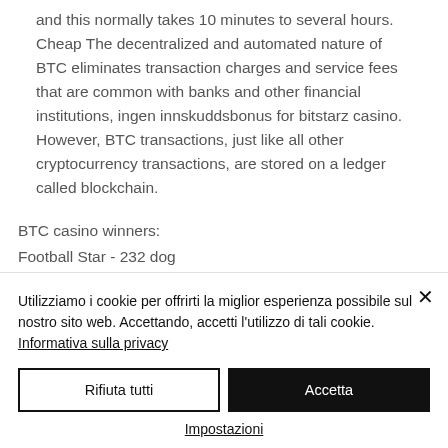and this normally takes 10 minutes to several hours. Cheap The decentralized and automated nature of BTC eliminates transaction charges and service fees that are common with banks and other financial institutions, ingen innskuddsbonus for bitstarz casino. However, BTC transactions, just like all other cryptocurrency transactions, are stored on a ledger called blockchain.
BTC casino winners:
Football Star - 232 dog
Talismans of Fortune - 44.8 eth
Utilizziamo i cookie per offrirti la miglior esperienza possibile sul nostro sito web. Accettando, accetti l'utilizzo di tali cookie. Informativa sulla privacy